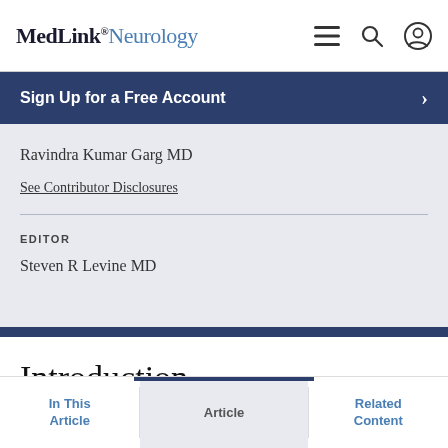MedLink® Neurology
Sign Up for a Free Account
Ravindra Kumar Garg MD
See Contributor Disclosures
EDITOR
Steven R Levine MD
Introduction
In This Article | Article | Related Content